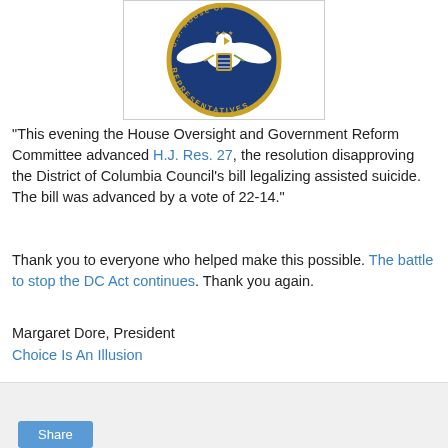[Figure (logo): Seal of the U.S. House of Representatives — circular blue and gold seal with eagle and 'REPRESENTATIVES' text]
"This evening the House Oversight and Government Reform Committee advanced H.J. Res. 27, the resolution disapproving the District of Columbia Council's bill legalizing assisted suicide. The bill was advanced by a vote of 22-14."
Thank you to everyone who helped make this possible. The battle to stop the DC Act continues. Thank you again.
Margaret Dore, President
Choice Is An Illusion